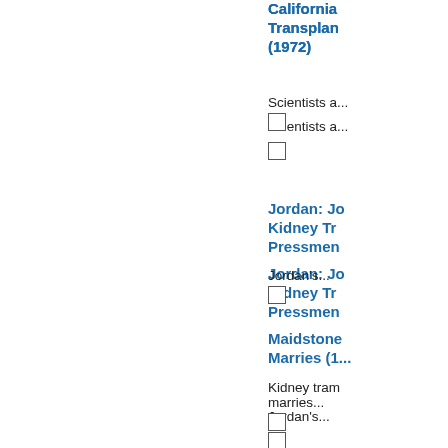California Transplant (1972)
Scientists a...
Jordan: Jo Kidney Tr Pressmen
Jordan's...
Maidstone Marries (1...
Kidney tram marries...
Uk: New S Experime Heart Ano
SURGEON